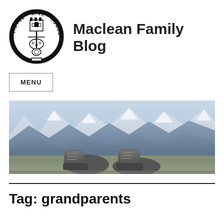[Figure (logo): Maclean clan crest badge: circular strap and buckle inscribed with 'VIRTUE MINE HONOUR', enclosing a castle tower above crossed weapons and decorative elements, black and white illustration]
Maclean Family Blog
MENU
[Figure (photo): Wide panoramic photo showing hiking boots resting on a mountain summit ledge with sweeping views of snow-capped mountain ranges under a hazy blue sky]
Tag: grandparents